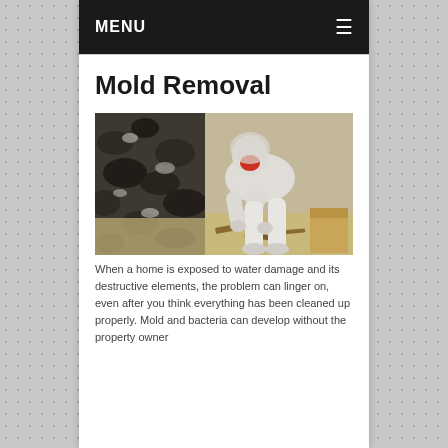MENU
Mold Removal
[Figure (photo): A worker in a white hazmat suit and respirator mask bending over to clean mold off a heavily mold-covered wall. The wall is covered in dark black mold. Debris and wood scraps are on the floor.]
When a home is exposed to water damage and its destructive elements, the problem can linger on, even after you think everything has been cleaned up properly. Mold and bacteria can develop without the property owner